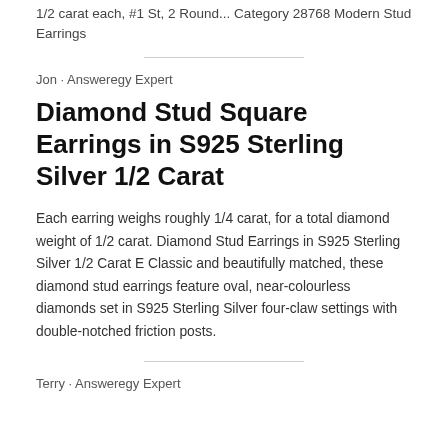1/2 carat each, #1 St, 2 Round... Category 28768 Modern Stud Earrings
Jon · Answeregy Expert
Diamond Stud Square Earrings in S925 Sterling Silver 1/2 Carat
Each earring weighs roughly 1/4 carat, for a total diamond weight of 1/2 carat. Diamond Stud Earrings in S925 Sterling Silver 1/2 Carat E Classic and beautifully matched, these diamond stud earrings feature oval, near-colourless diamonds set in S925 Sterling Silver four-claw settings with double-notched friction posts.
Terry · Answeregy Expert